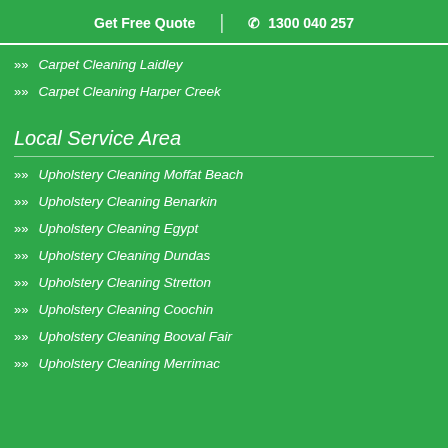Get Free Quote  |  ☎ 1300 040 257
Carpet Cleaning Laidley
Carpet Cleaning Harper Creek
Local Service Area
Upholstery Cleaning Moffat Beach
Upholstery Cleaning Benarkin
Upholstery Cleaning Egypt
Upholstery Cleaning Dundas
Upholstery Cleaning Stretton
Upholstery Cleaning Coochin
Upholstery Cleaning Booval Fair
Upholstery Cleaning Merrimac